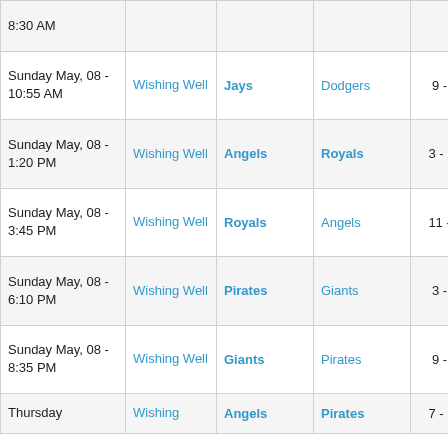| Date | Field | Winner | Loser | Score |  |
| --- | --- | --- | --- | --- | --- |
| 8:30 AM |  |  |  |  | Box Score |
| Sunday May, 08 - 10:55 AM | Wishing Well | Jays | Dodgers | 9 - 5 | Box Score |
| Sunday May, 08 - 1:20 PM | Wishing Well | Angels | Royals | 3 - 20 | Box Score |
| Sunday May, 08 - 3:45 PM | Wishing Well | Royals | Angels | 11 - 1 | Box Score |
| Sunday May, 08 - 6:10 PM | Wishing Well | Pirates | Giants | 3 - 1 | Box Score |
| Sunday May, 08 - 8:35 PM | Wishing Well | Giants | Pirates | 9 - 6 | Box Score |
| Thursday | Wishing | Angels | Pirates | 7 - 10 | Box Score |